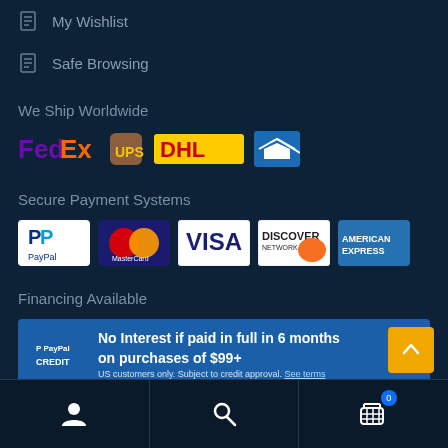My Wishlist
Safe Browsing
We Ship Worldwide
[Figure (logo): Shipping carrier logos: FedEx, UPS, DHL, USPS]
Secure Payment Systems
[Figure (logo): Payment method logos: PayPal, MasterCard, Visa, Discover, American Express]
Financing Available
[Figure (infographic): PayPal Credit banner: No Interest if paid in full in 6 months on purchases of $99+. US customers only. Subject to credit approval. See terms.]